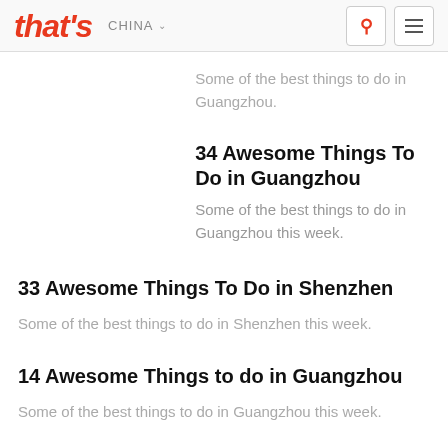that's CHINA
Some of the best things to do in Guangzhou.
34 Awesome Things To Do in Guangzhou
Some of the best things to do in Guangzhou this week.
33 Awesome Things To Do in Shenzhen
Some of the best things to do in Shenzhen this week.
14 Awesome Things to do in Guangzhou
Some of the best things to do in Guangzhou this week.
17 Awesome Things To Do in Shenzhen